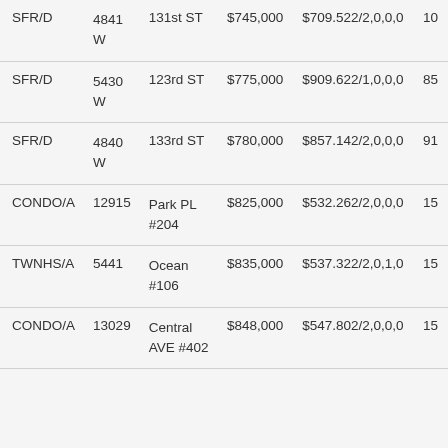| Type | Num | Street | Price | Info | Extra |
| --- | --- | --- | --- | --- | --- |
| SFR/D | 4841
W | 131st ST | $745,000 | $709.522/2,0,0,0 | 10 |
| SFR/D | 5430
W | 123rd ST | $775,000 | $909.622/1,0,0,0 | 85 |
| SFR/D | 4840
W | 133rd ST | $780,000 | $857.142/2,0,0,0 | 91 |
| CONDO/A | 12915 | Park PL #204 | $825,000 | $532.262/2,0,0,0 | 15 |
| TWNHS/A | 5441 | Ocean #106 | $835,000 | $537.322/2,0,1,0 | 15 |
| CONDO/A | 13029 | Central AVE #402 | $848,000 | $547.802/2,0,0,0 | 15 |